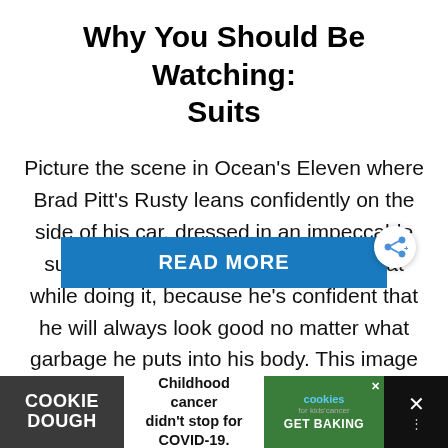Why You Should Be Watching: Suits
Picture the scene in Ocean's Eleven where Brad Pitt's Rusty leans confidently on the side of his car, dressed in an impeccable suit, eating junk food and looking great while doing it, because he's confident that he will always look good no matter what garbage he puts into his body. This image is mirrored by …
[Figure (other): READ MORE button in blue and share icon button]
[Figure (other): Advertisement banner: Cookie Dough brand ad with text 'Childhood cancer didn't stop for COVID-19' and cookies for kids' cancer GET BAKING logo]